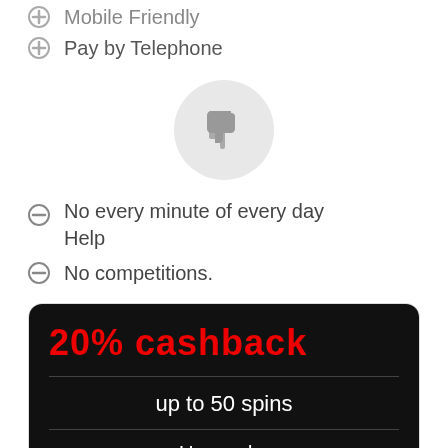Mobile Friendly
Pay by Telephone
[Figure (illustration): A thumbs-down icon inside a light grey circle]
No every minute of every day Help
No competitions.
[Figure (infographic): Promotional box with black background showing '20% cashback', 'up to 50 spins', and 'Use code:']